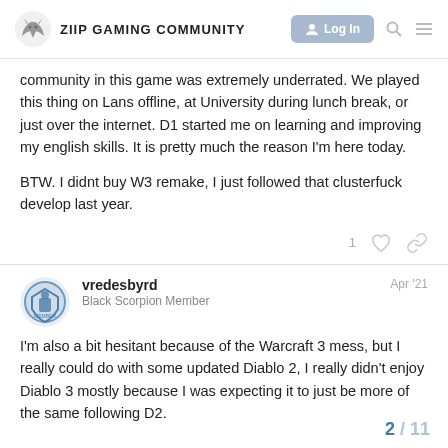ZIIP GAMING COMMUNITY
community in this game was extremely underrated. We played this thing on Lans offline, at University during lunch break, or just over the internet. D1 started me on learning and improving my english skills. It is pretty much the reason I'm here today.

BTW. I didnt buy W3 remake, I just followed that clusterfuck develop last year.
vredesbyrd
Black Scorpion Member
Apr '21
I'm also a bit hesitant because of the Warcraft 3 mess, but I really could do with some updated Diablo 2, I really didn't enjoy Diablo 3 mostly because I was expecting it to just be more of the same following D2.
2 / 11